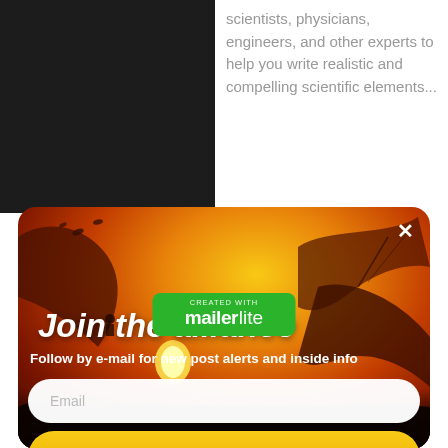scientists, physicians, engineers, and other experts to help you write realistic and compelling scientific elements...
[Figure (screenshot): Email subscription modal popup with fantasy dragon artwork background. Title reads 'Join the alliance', subtitle 'Follow by e-mail for new post alerts and inside info', with an email input field and a yellow 'Sign me up!' button. A close (x) button is in the top right corner.]
Mark
September 15, 2019 at 5:29 pm
[Figure (logo): MailerLite green badge: 'CREATED WITH mailer lite']